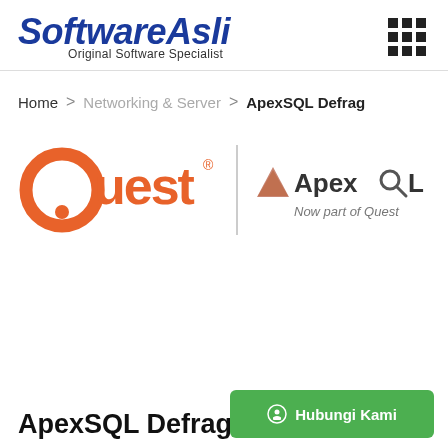SoftwareAsli Original Software Specialist
Home > Networking & Server > ApexSQL Defrag
[Figure (logo): Quest | ApexSQL Now part of Quest combined logo]
Hubungi Kami
ApexSQL Defrag